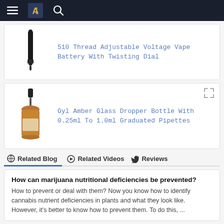Navigation bar with menu, logo, and search icons
510 Thread Adjustable Voltage Vape Battery With Twisting Dial
[Figure (photo): Vape pen device, black, slim, vertical]
Gyl Amber Glass Dropper Bottle With 0.25ml To 1.0ml Graduated Pipettes
[Figure (photo): Amber glass dropper bottle with black cap and pipette dropper]
Related Blog   Related Videos   Reviews
How can marijuana nutritional deficiencies be prevented?
How to prevent or deal with them? Now you know how to identify cannabis nutrient deficiencies in plants and what they look like. However, it's better to know how to prevent them. To do this, ...
Vape crisis hits cannabis business
Given the recent panic in black market cartridges and the impact on legal market, this is a very fitting day. Canadian company Cronos h...